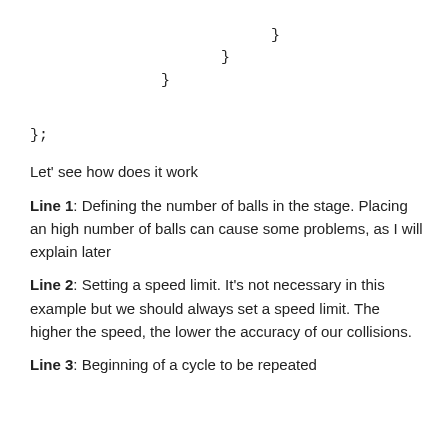}
        }
    }
};
Let’ see how does it work
Line 1: Defining the number of balls in the stage. Placing an high number of balls can cause some problems, as I will explain later
Line 2: Setting a speed limit. It’s not necessary in this example but we should always set a speed limit. The higher the speed, the lower the accuracy of our collisions.
Line 3: Beginning of a cycle to be repeated